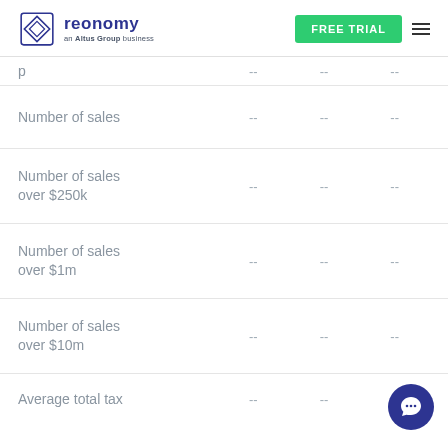reonomy — an Altus Group business | FREE TRIAL
|  |  |  |  |
| --- | --- | --- | --- |
| Number of sales | -- | -- | -- |
| Number of sales over $250k | -- | -- | -- |
| Number of sales over $1m | -- | -- | -- |
| Number of sales over $10m | -- | -- | -- |
| Average total tax | -- | -- | -- |